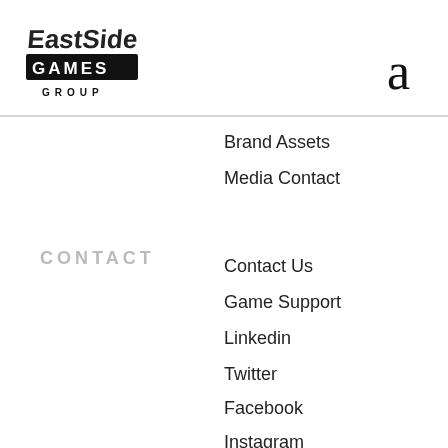[Figure (logo): EastSide Games Group logo — hand-lettered 'EastSide' text above a black block with 'GAMES' in white, below 'GROUP' in spaced caps]
a
Brand Assets
Media Contact
CONTACT
Contact Us
Game Support
Linkedin
Twitter
Facebook
Instagram